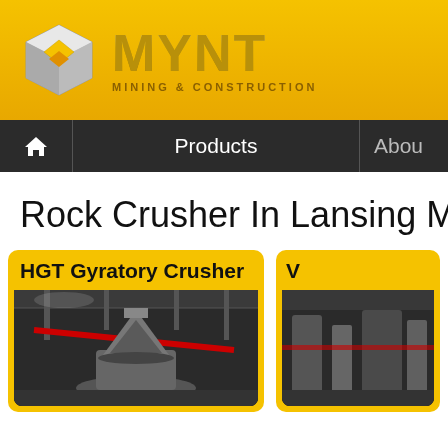[Figure (logo): MYNT Mining & Construction logo — metallic cube icon with gold diamond center, alongside MYNT text in chrome/gold metallic lettering, subtitle 'MINING & CONSTRUCTION' below]
Products  |  About
Rock Crusher In Lansing Michig…
[Figure (photo): HGT Gyratory Crusher product card — yellow card with title 'HGT Gyratory Crusher', below is a dark-background photo of a large industrial gyratory crusher machine inside a facility with red diagonal pipe and scaffolding]
[Figure (photo): Second product card (partially visible) — yellow card on the right side, partially cut off, with a dark-background photo showing industrial machinery]